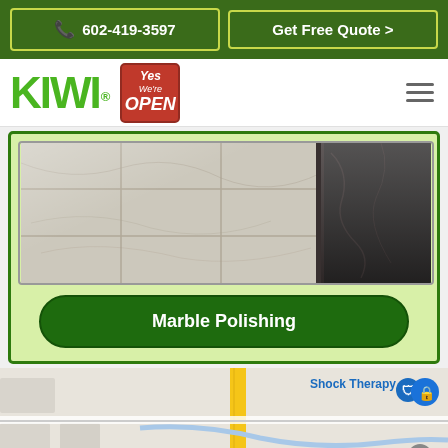602-419-3597 | Get Free Quote >
[Figure (logo): KIWI logo with registered trademark symbol and Yes We're Open badge]
[Figure (photo): Polished marble floor tiles with dark stone border accent]
Marble Polishing
[Figure (map): Google Maps view showing streets near W Williams Dr and N 23rd with Shock Therapy business label]